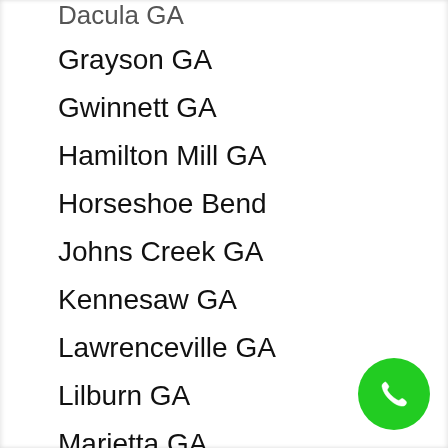Dacula GA
Grayson GA
Gwinnett GA
Hamilton Mill GA
Horseshoe Bend
Johns Creek GA
Kennesaw GA
Lawrenceville GA
Lilburn GA
Marietta GA
Milton GA
Norcross GA
Peachtree Corners GA
Roswell GA
Sandy Springs GA
Smyrna GA
Snellville GA